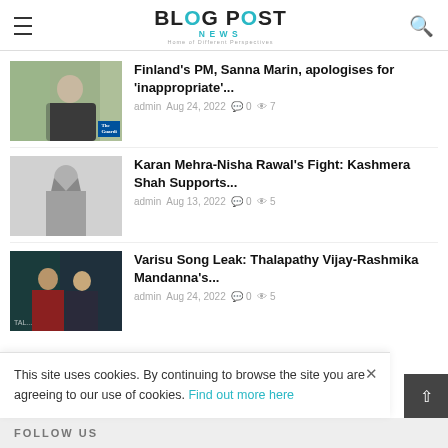BLOG POST NEWS — Home of Different Perspectives
Finland's PM, Sanna Marin, apologises for 'inappropriate'... | admin | Aug 24, 2022 | 0 comments | 7 views
Karan Mehra-Nisha Rawal's Fight: Kashmera Shah Supports... | admin | Aug 13, 2022 | 0 comments | 5 views
Varisu Song Leak: Thalapathy Vijay-Rashmika Mandanna's... | admin | Aug 24, 2022 | 0 comments | 5 views
This site uses cookies. By continuing to browse the site you are agreeing to our use of cookies. Find out more here
FOLLOW US